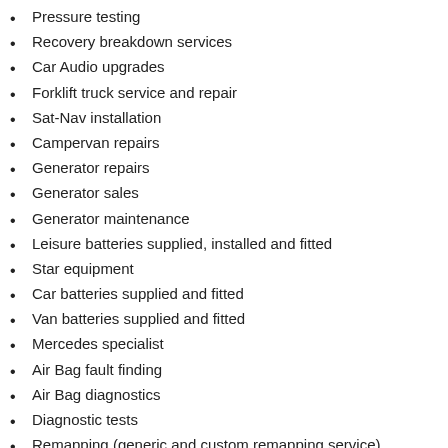Pressure testing
Recovery breakdown services
Car Audio upgrades
Forklift truck service and repair
Sat-Nav installation
Campervan repairs
Generator repairs
Generator sales
Generator maintenance
Leisure batteries supplied, installed and fitted
Star equipment
Car batteries supplied and fitted
Van batteries supplied and fitted
Mercedes specialist
Air Bag fault finding
Air Bag diagnostics
Diagnostic tests
Remapping (generic and custom remapping service)
Vehicle inspections (pre-purchase service)
Vehicle health checks
Boat rebuilds and repairs
MOT & Pre-MOT work
Any vehicle servicing (Car/Van/Truck/Bike)